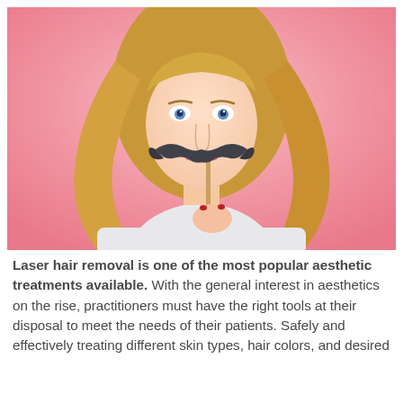[Figure (photo): A blonde woman with blue eyes holding a fake mustache prop on a stick in front of her face, against a pink background, wearing a white top.]
Laser hair removal is one of the most popular aesthetic treatments available. With the general interest in aesthetics on the rise, practitioners must have the right tools at their disposal to meet the needs of their patients. Safely and effectively treating different skin types, hair colors, and desired